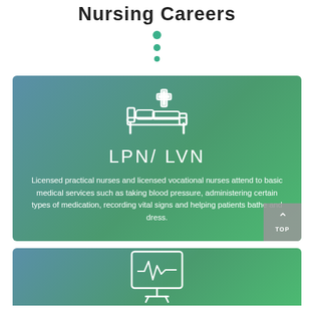Nursing Careers
[Figure (infographic): Three teal/green vertical dots decoration]
[Figure (infographic): Card with hospital bed and medical cross icon, heading LPN/LVN, description text about licensed practical nurses and licensed vocational nurses, with a TOP navigation button]
[Figure (infographic): Card with EKG/heart monitor screen icon (partially visible at bottom)]